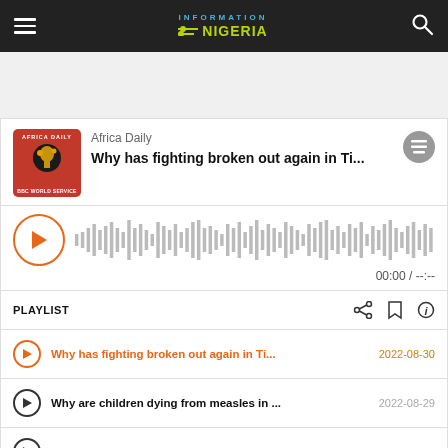Information Nigeria
[Figure (screenshot): Podcast player widget showing Africa Daily BBC World Service podcast. Episode titled 'Why has fighting broken out again in Ti...' with waveform visualizer, play button, time display 00:00 / --:--, playlist bar with share/bookmark/info icons, and playlist entries for episodes dated 2022-08-30, 2022-08-29, and 2022-08-26.]
Why has fighting broken out again in Ti... 2022-08-30
Why are children dying from measles in ... 2022-08-29
Should UN peacekeepers remain in Afri... 2022-08-26